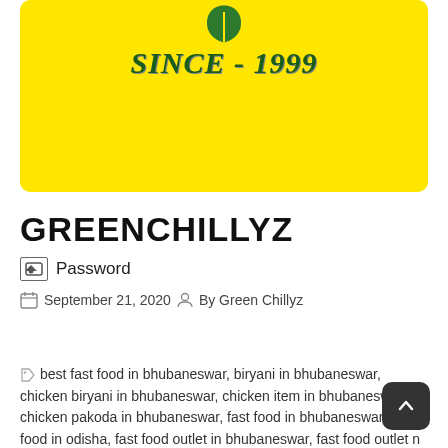[Figure (logo): Green Chillyz restaurant logo on yellow background with a green leaf icon and text 'SINCE - 1999']
GREENCHILLYZ
🖼 Password
September 21, 2020   By Green Chillyz
best fast food in bhubaneswar, biryani in bhubaneswar, chicken biryani in bhubaneswar, chicken item in bhubaneswar, chicken pakoda in bhubaneswar, fast food in bhubaneswar, fast food in odisha, fast food outlet in bhubaneswar, fast food outlet n odisha,